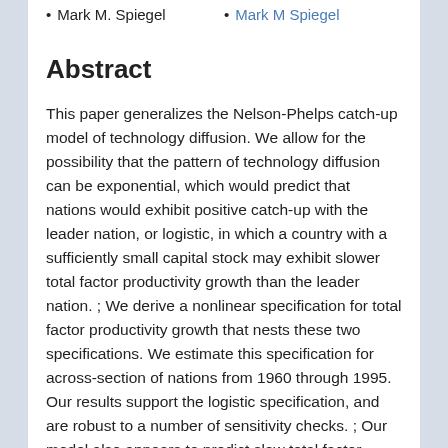Mark M. Spiegel
Mark M Spiegel
Abstract
This paper generalizes the Nelson-Phelps catch-up model of technology diffusion. We allow for the possibility that the pattern of technology diffusion can be exponential, which would predict that nations would exhibit positive catch-up with the leader nation, or logistic, in which a country with a sufficiently small capital stock may exhibit slower total factor productivity growth than the leader nation. ; We derive a nonlinear specification for total factor productivity growth that nests these two specifications. We estimate this specification for across-section of nations from 1960 through 1995. Our results support the logistic specification, and are robust to a number of sensitivity checks. ; Our model also appears to predict slow total factor productivity